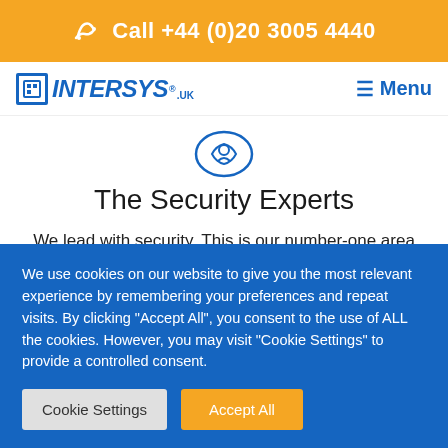Call +44 (0)20 3005 4440
[Figure (logo): Intersys UK logo with blue square icon and blue italic INTERSYS text, with .uk suffix]
Menu
[Figure (illustration): Blue shield/security icon outline]
The Security Experts
We lead with security. This is our number-one area of expertise, complemented by our other specialist services. If it's your top concern too, you're in the right place.
We use cookies on our website to give you the most relevant experience by remembering your preferences and repeat visits. By clicking "Accept All", you consent to the use of ALL the cookies. However, you may visit "Cookie Settings" to provide a controlled consent.